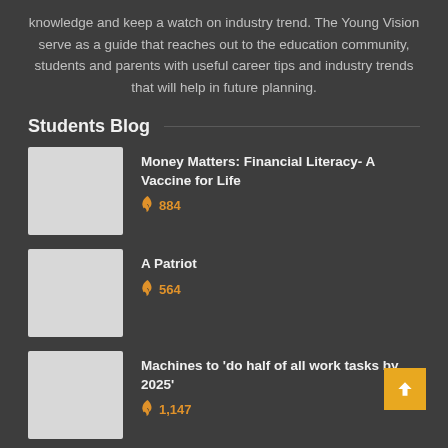knowledge and keep a watch on industry trend. The Young Vision serve as a guide that reaches out to the education community, students and parents with useful career tips and industry trends that will help in future planning.
Students Blog
Money Matters: Financial Literacy- A Vaccine for Life — 884 views
A Patriot — 564 views
Machines to 'do half of all work tasks by 2025' — 1,147 views